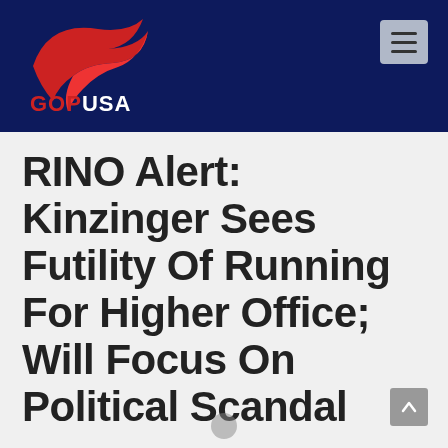[Figure (logo): GOPUSA logo with red swoosh/bird graphic above text 'GOPUSA' in white on dark navy blue background header bar]
RINO Alert: Kinzinger Sees Futility Of Running For Higher Office; Will Focus On Political Scandal
Chicago Tribune | Jan 6, 2022 | News | 13